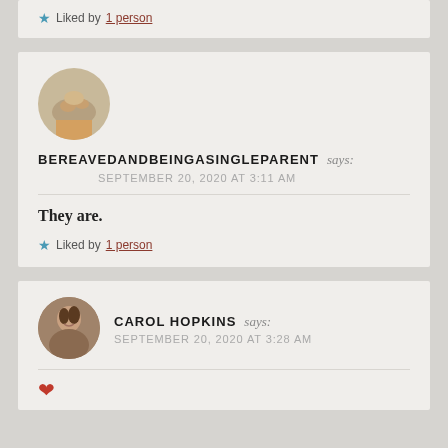★ Liked by 1 person
[Figure (photo): Circular avatar showing a cat or small animal on a floor, blurred background]
BEREAVEDANDBEINGASINGLEPARENT says:
SEPTEMBER 20, 2020 AT 3:11 AM
They are.
★ Liked by 1 person
[Figure (photo): Circular avatar showing a woman smiling, holding something]
CAROL HOPKINS says:
SEPTEMBER 20, 2020 AT 3:28 AM
♥